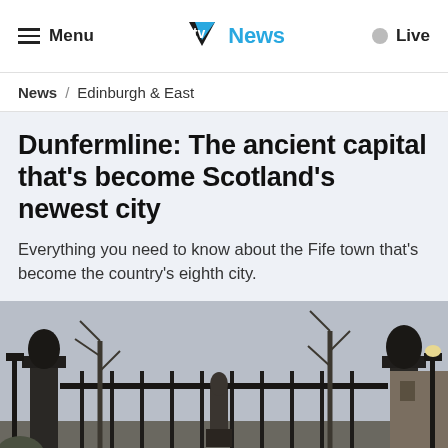Menu | STV News | Live
News / Edinburgh & East
Dunfermline: The ancient capital that's become Scotland's newest city
Everything you need to know about the Fife town that's become the country's eighth city.
[Figure (photo): Iron gate entrance with ornamental pillars, bare winter trees and a statue in the background, in Dunfermline]